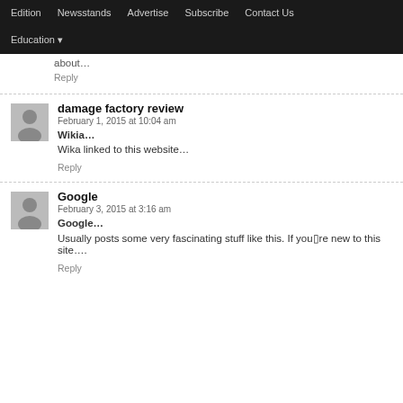Edition  Newsstands  Advertise  Subscribe  Contact Us  Education
about...
Reply
damage factory review
February 1, 2015 at 10:04 am
Wikia...
Wika linked to this website…
Reply
Google
February 3, 2015 at 3:16 am
Google...
Usually posts some very fascinating stuff like this. If you▯re new to this site....
Reply